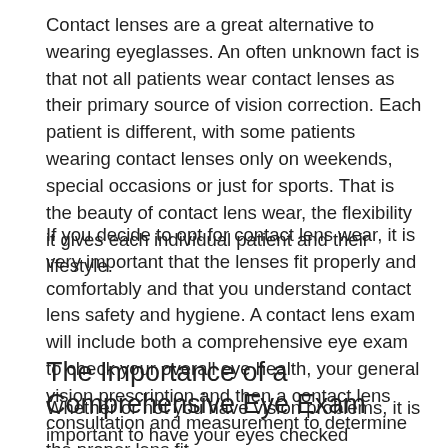Contact lenses are a great alternative to wearing eyeglasses. An often unknown fact is that not all patients wear contact lenses as their primary source of vision correction. Each patient is different, with some patients wearing contact lenses only on weekends, special occasions or just for sports. That is the beauty of contact lens wear, the flexibility it gives each individual patient and their lifestyle.
If you decide to opt for contact lens wear, it is very important that the lenses fit properly and comfortably and that you understand contact lens safety and hygiene. A contact lens exam will include both a comprehensive eye exam to check your overall eye health, your general vision prescription and then a contact lens consultation and measurement to determine the proper lens fit.
The Importance of a Comprehensive Eye Exam
Whether or not you have vision problems, it is important to have your eyes checked regularly to ensure they are healthy and that there are no signs of a developing eye condition. A comprehensive eye exam will check the general health of your